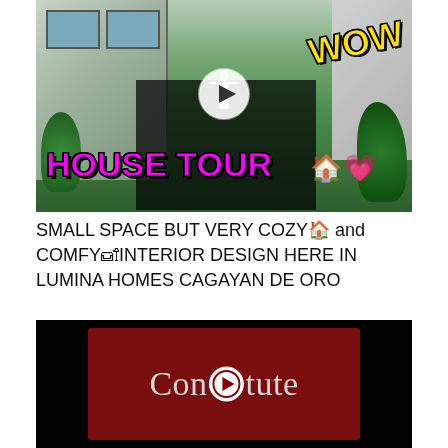[Figure (screenshot): YouTube video thumbnail showing a man with arms outstretched in front of a house, with text 'HOUSE TOUR' in magenta, 'WOW' in yellow, a play button circle, house emoji and heart emoji]
SMALL SPACE BUT VERY COZY🏠 and COMFY🛋INTERIOR DESIGN HERE IN LUMINA HOMES CAGAYAN DE ORO
[Figure (screenshot): YouTube-style thumbnail with black background and dark red center panel showing 'Constitute' text with a play button icon replacing the letter 't']